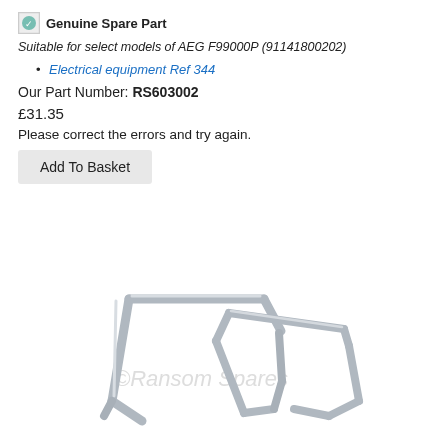Genuine Spare Part
Suitable for select models of AEG F99000P (91141800202)
Electrical equipment Ref 344
Our Part Number: RS603002
£31.35
Please correct the errors and try again.
Add To Basket
[Figure (photo): Metal bracket/spring clip component - a silver/chrome colored wire form bracket with two parallel horizontal bars connected by bent ends, appears to be a washing machine or dishwasher internal spring clip part. Watermark reads ©Ransom Spares.]